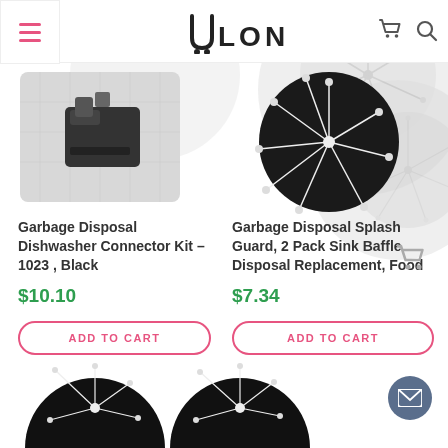[Figure (logo): Ulonet logo with cart icon]
[Figure (photo): Garbage Disposal Dishwasher Connector Kit product image]
Garbage Disposal Dishwasher Connector Kit – 1023 , Black
$10.10
ADD TO CART
[Figure (photo): Garbage Disposal Splash Guard product image - black circular baffle]
Garbage Disposal Splash Guard, 2 Pack Sink Baffle Disposal Replacement, Food
$7.34
ADD TO CART
[Figure (photo): Bottom row of product images - black garbage disposal splash guards]